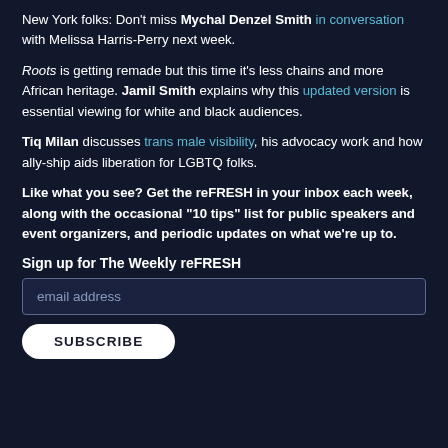New York folks: Don't miss Mychal Denzel Smith in conversation with Melissa Harris-Perry next week.
Roots is getting remade but this time it's less chains and more African heritage. Jamil Smith explains why this updated version is essential viewing for white and black audiences.
Tiq Milan discusses trans male visibility, his advocacy work and how ally-ship aids liberation for LGBTQ folks.
Like what you see? Get the reFRESH in your inbox each week, along with the occasional "10 tips" list for public speakers and event organizers, and periodic updates on what we're up to.
Sign up for The Weekly reFRESH
email address
SUBSCRIBE